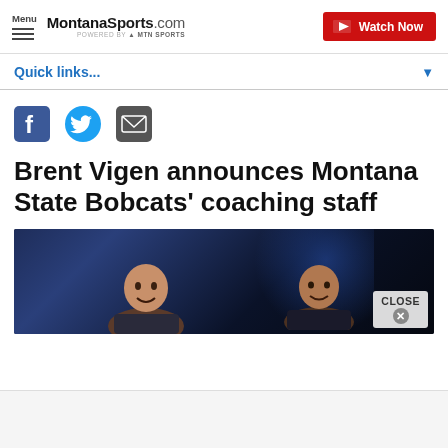Menu | MontanaSports.com powered by MTN SPORTS | Watch Now
Quick links...
[Figure (screenshot): Social sharing icons: Facebook, Twitter, Email]
Brent Vigen announces Montana State Bobcats' coaching staff
[Figure (photo): Two people smiling against a dark blue background, with a CLOSE button overlay in the bottom right]